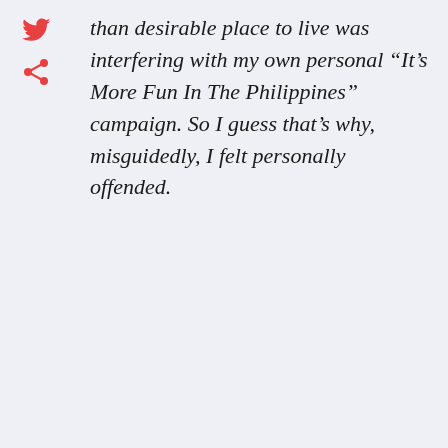than desirable place to live was interfering with my own personal “It’s More Fun In The Philippines” campaign. So I guess that’s why, misguidedly, I felt personally offended.